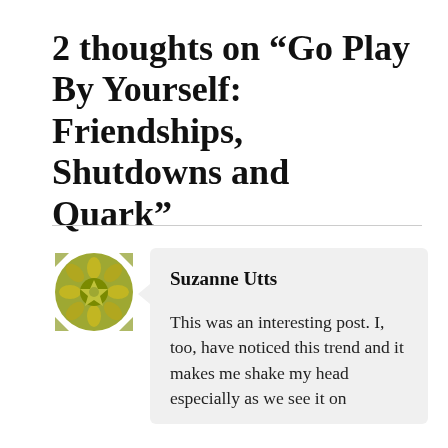2 thoughts on “Go Play By Yourself: Friendships, Shutdowns and Quark”
Suzanne Utts
This was an interesting post. I, too, have noticed this trend and it makes me shake my head especially as we see it on